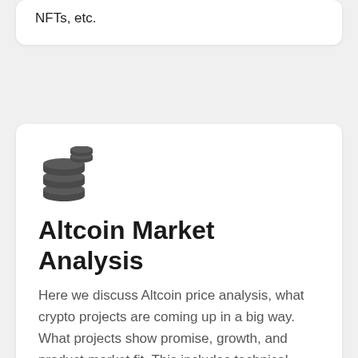NFTs, etc.
[Figure (illustration): Stack of coins icon in dark gray]
Altcoin Market Analysis
Here we discuss Altcoin price analysis, what crypto projects are coming up in a big way. What projects show promise, growth, and product-market fit. This includes technical analysis but also fundamental analysis.